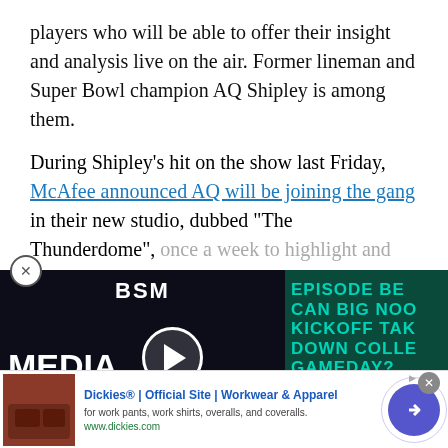players who will be able to offer their insight and analysis live on the air. Former lineman and Super Bowl champion AQ Shipley is among them.
During Shipley's hit on the show last Friday, McAfee announced AQ will be joining the gang in their new studio, dubbed “The Thunderdome”, once a week to highlight and analyze line play.
[Figure (other): CONTINUE READING button]
[Figure (screenshot): BSM Media Noise video episode thumbnail with text: EPISODE BE CAN BIG NOO KICKOFF TAK DOWN COLLE GAMEDAY?]
[Figure (other): Returned to ESPN headline text visible at bottom]
[Figure (other): Dickies advertisement: Dickies Official Site Workwear & Apparel, for work pants, work shirts, overalls, and coveralls. www.dickies.com]